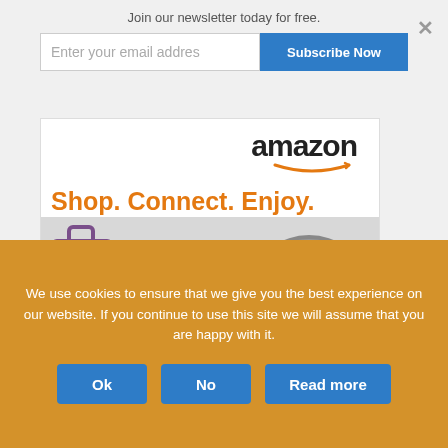Join our newsletter today for free.
Enter your email addres
Subscribe Now
[Figure (illustration): Amazon advertisement showing the Amazon logo, tagline 'Shop. Connect. Enjoy.' in orange, and product images including a purple bag, Echo device, tablet, and slow cooker.]
Food Advertising by GourmetAds™
DISCLOSURE
We use cookies to ensure that we give you the best experience on our website. If you continue to use this site we will assume that you are happy with it.
Ok
No
Read more